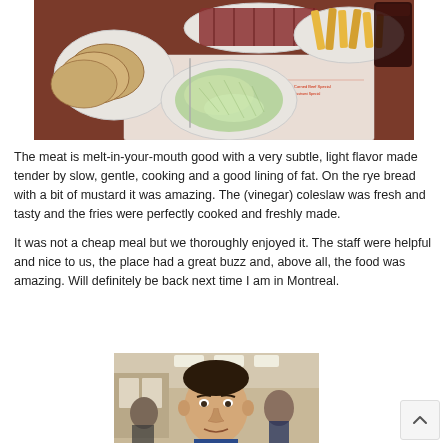[Figure (photo): Restaurant table with food: plates of sliced meat, coleslaw, fries, bread, drinks, and a printed paper placemat/menu]
The meat is melt-in-your-mouth good with a very subtle, light flavor made tender by slow, gentle, cooking and a good lining of fat. On the rye bread with a bit of mustard it was amazing. The (vinegar) coleslaw was fresh and tasty and the fries were perfectly cooked and freshly made.
It was not a cheap meal but we thoroughly enjoyed it. The staff were helpful and nice to us, the place had a great buzz and, above all, the food was amazing. Will definitely be back next time I am in Montreal.
[Figure (photo): A man taking a selfie inside a busy deli restaurant with other patrons visible in the background]